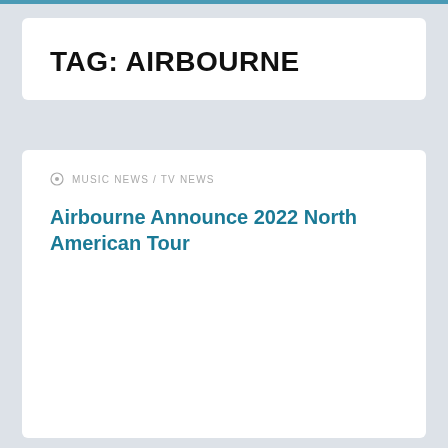TAG: AIRBOURNE
MUSIC NEWS / TV NEWS
Airbourne Announce 2022 North American Tour